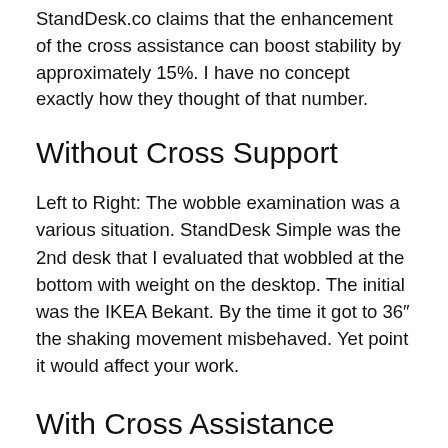StandDesk.co claims that the enhancement of the cross assistance can boost stability by approximately 15%. I have no concept exactly how they thought of that number.
Without Cross Support
Left to Right: The wobble examination was a various situation. StandDesk Simple was the 2nd desk that I evaluated that wobbled at the bottom with weight on the desktop. The initial was the IKEA Bekant. By the time it got to 36″ the shaking movement misbehaved. Yet point it would affect your work.
With Cross Assistance